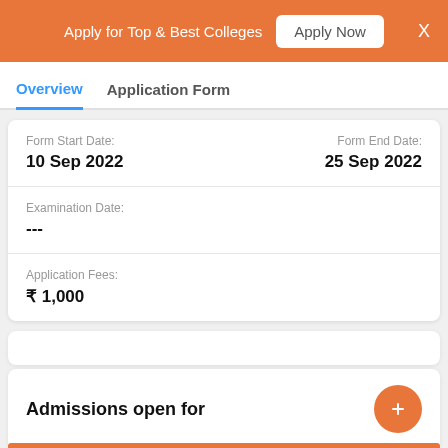Apply for Top & Best Colleges  Apply Now  X
Overview   Application Form
| Field | Value |
| --- | --- |
| Form Start Date: | 10 Sep 2022 | Form End Date: | 25 Sep 2022 |
| Examination Date: | --- |
| Application Fees: | ₹ 1,000 |
Admissions open for